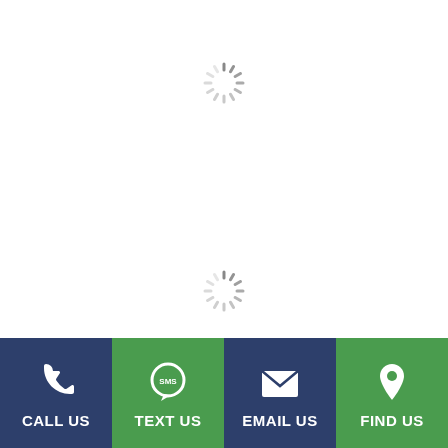[Figure (other): Loading spinner icon (gray, circular dashes) near top center of page]
[Figure (other): Loading spinner icon (gray, circular dashes) near bottom center of page]
[Figure (infographic): Footer bar with four action buttons: CALL US (navy, phone icon), TEXT US (green, SMS bubble icon), EMAIL US (navy, envelope icon), FIND US (green, map pin icon)]